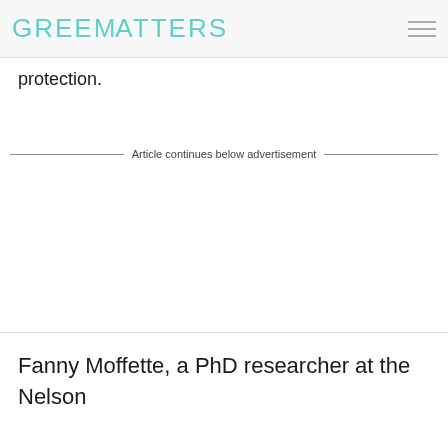GREENMATTERS
protection.
Article continues below advertisement
Fanny Moffette, a PhD researcher at the Nelson